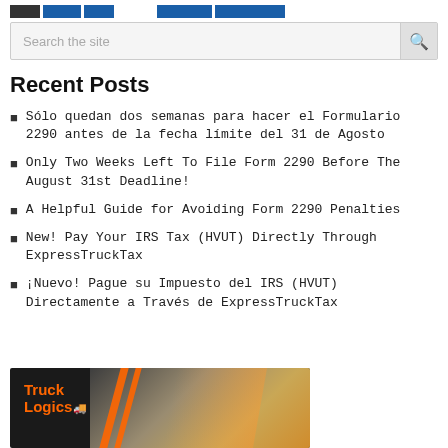[Navigation bar with colored blocks]
Search the site
Recent Posts
Sólo quedan dos semanas para hacer el Formulario 2290 antes de la fecha límite del 31 de Agosto
Only Two Weeks Left To File Form 2290 Before The August 31st Deadline!
A Helpful Guide for Avoiding Form 2290 Penalties
New! Pay Your IRS Tax (HVUT) Directly Through ExpressTruckTax
¡Nuevo! Pague su Impuesto del IRS (HVUT) Directamente a Través de ExpressTruckTax
[Figure (logo): TruckLogics logo on dark background with orange stripes and gradient background suggesting a truck/highway scene]